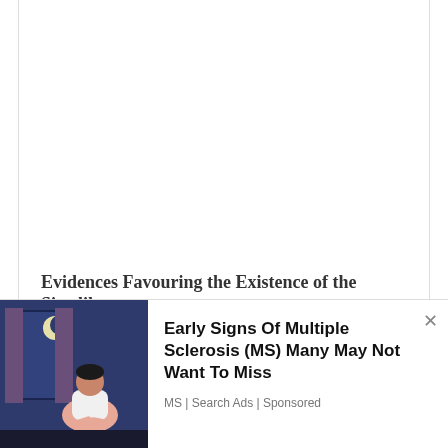[Figure (other): Blank white cropped area from a document page, with thin border lines on left and right sides]
Evidences Favouring the Existence of the Siwalik
We use cookies on our website to give you the most relevant experience by remembering your preferences and repeat visits. By clicking “Accept”, you consent to the use of ALL the cookies.
Do not sell my personal information.
[Figure (illustration): Advertisement illustration showing a person sitting by a window at night with moon and curtains, blue/dark tones]
Early Signs Of Multiple Sclerosis (MS) Many May Not Want To Miss
MS | Search Ads | Sponsored